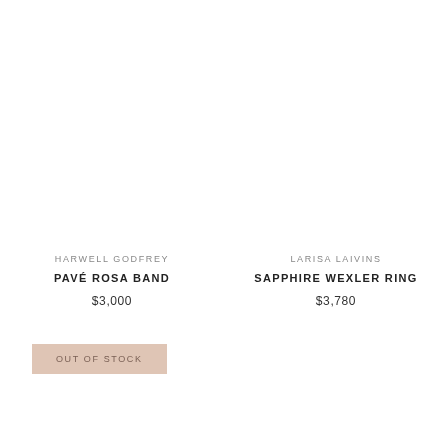HARWELL GODFREY
PAVÉ ROSA BAND
$3,000
LARISA LAIVINS
SAPPHIRE WEXLER RING
$3,780
OUT OF STOCK